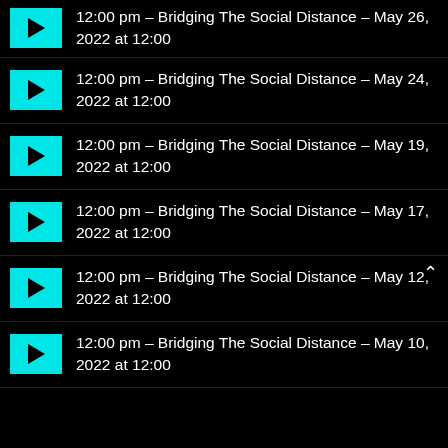12:00 pm – Bridging The Social Distance – May 26, 2022 at 12:00
12:00 pm – Bridging The Social Distance – May 24, 2022 at 12:00
12:00 pm – Bridging The Social Distance – May 19, 2022 at 12:00
12:00 pm – Bridging The Social Distance – May 17, 2022 at 12:00
12:00 pm – Bridging The Social Distance – May 12, 2022 at 12:00
12:00 pm – Bridging The Social Distance – May 10, 2022 at 12:00